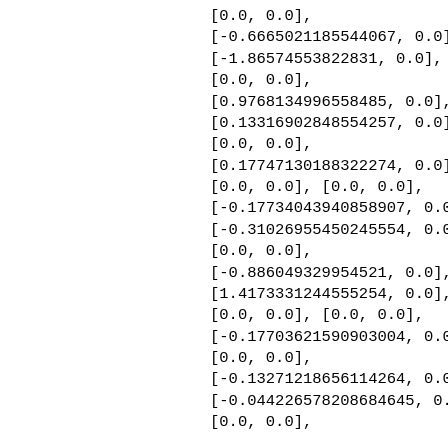[0.0, 0.0],
[-0.6665021185544067, 0.0],
[-1.86574553822831, 0.0],
[0.0, 0.0],
[0.9768134996558485, 0.0],
[0.13316902848554257, 0.0],
[0.0, 0.0],
[0.17747130188322274, 0.0],
[0.0, 0.0], [0.0, 0.0],
[-0.17734043940858907, 0.0],
[-0.31026955450245554, 0.0],
[0.0, 0.0],
[-0.886049329954521, 0.0],
[1.4173331244555254, 0.0],
[0.0, 0.0], [0.0, 0.0],
[-0.17703621590903004, 0.0],
[0.0, 0.0],
[-0.13271218656114264, 0.0],
[-0.044226578208684645, 0.0],
[0.0, 0.0],